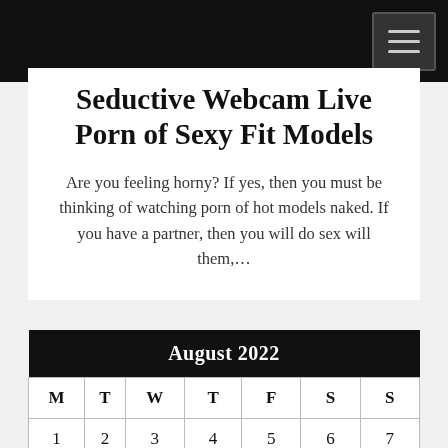Seductive Webcam Live Porn of Sexy Fit Models
Are you feeling horny? If yes, then you must be thinking of watching porn of hot models naked. If you have a partner, then you will do sex will them,…
| M | T | W | T | F | S | S |
| --- | --- | --- | --- | --- | --- | --- |
| 1 | 2 | 3 | 4 | 5 | 6 | 7 |
| 8 | 9 | 10 | 11 | 12 | 13 | 14 |